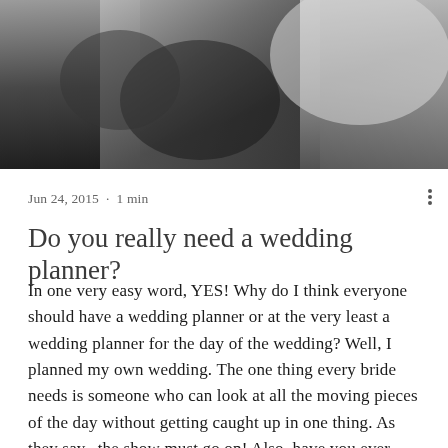[Figure (photo): Black and white close-up photo of a couple embracing, showing a man in a dark suit and a woman in a light-colored dress.]
Jun 24, 2015  ·  1 min
Do you really need a wedding planner?
In one very easy word, YES! Why do I think everyone should have a wedding planner or at the very least a wedding planner for the day of the wedding? Well, I planned my own wedding. The one thing every bride needs is someone who can look at all the moving pieces of the day without getting caught up in one thing. As they say...the show must go on! Also, have you ever heard of those horror stories about the bridesmaids forgetting a dress, a groomsman forgetting rings, an